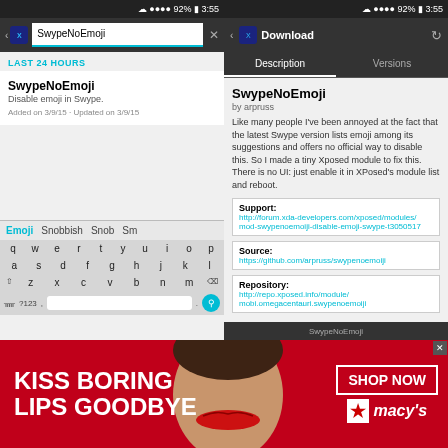[Figure (screenshot): Left Android phone screenshot showing XPosed module search for SwypeNoEmoji with keyboard visible. LAST 24 HOURS section shows SwypeNoEmoji entry: 'Disable emoji in Swype. Added on 3/9/15 - Updated on 3/9/15'. Keyboard suggestions row shows Emoji (cyan), Snobbish, Snob, Sm... QWERTY keyboard visible below.]
[Figure (screenshot): Right Android phone screenshot showing XPosed module Download page for SwypeNoEmoji. Description tab active. Shows: 'SwypeNoEmoji by arpruss. Like many people I've been annoyed at the fact that the latest Swype version lists emoji among its suggestions and offers no official way to disable this. So I made a tiny Xposed module to fix this. There is no UI: just enable it in XPosed's module list and reboot.' Support: http://forum.xda-developers.com/xposed/modules/mod-swypenoemoiji-disable-emoji-swype-t3050517. Source: https://github.com/arpruss/swypenoemoiji. Repository: http://repo.xposed.info/module/mobi.omegacentauri.swypenoemoiji.]
[Figure (photo): Macy's advertisement banner: Red background with text 'KISS BORING LIPS GOODBYE' in white bold font. Center shows a woman's face with red lips. Right side has 'SHOP NOW' in white box and Macy's star logo in red with italic 'macy's' text in white.]